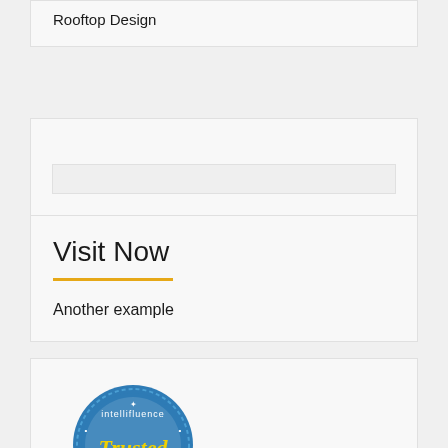Rooftop Design
[Figure (other): Search input box widget area]
Visit Now
Another example
[Figure (logo): Intellifluence Trusted Blogger badge - circular blue badge with yellow ribbon banner reading BLOGGER]